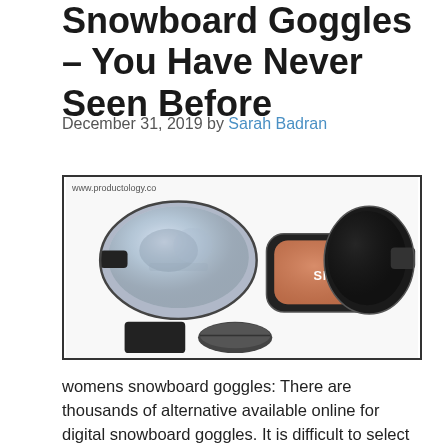Snowboard Goggles – You Have Never Seen Before
December 31, 2019 by Sarah Badran
[Figure (photo): Three snowboard goggles shown side by side: a large silver mirrored goggle with accessories (bag and case), a Smith brand black goggle with rose-colored lens, and a large black goggle with dark lens. URL watermark: www.productology.co]
womens snowboard goggles: There are thousands of alternative available online for digital snowboard goggles. It is difficult to select right quicksilver snow goggles product. We have tried to ease your decision making by scoring each product for digital snowboard goggles based on 1146 reviews.